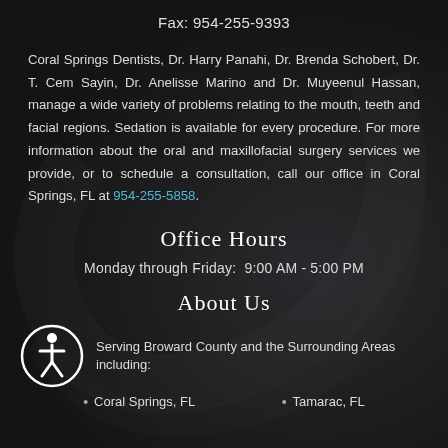Fax: 954-255-9393
Coral Springs Dentists, Dr. Harry Panahi, Dr. Brenda Schobert, Dr. T. Cem Sayin, Dr. Anelisse Marino and Dr. Muyeenul Hassan, manage a wide variety of problems relating to the mouth, teeth and facial regions. Sedation is available for every procedure. For more information about the oral and maxillofacial surgery services we provide, or to schedule a consultation, call our office in Coral Springs, FL at 954-255-5858.
Office Hours
Monday through Friday:  9:00 AM - 5:00 PM
About Us
Serving Broward County and the Surrounding Areas including:
Coral Springs, FL   Tamarac, FL